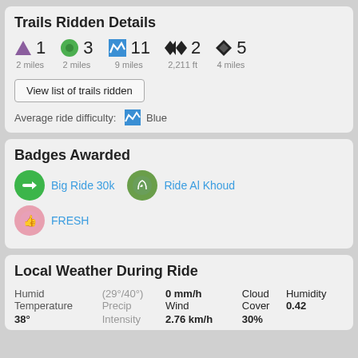Trails Ridden Details
[Figure (infographic): Trail difficulty icons with counts: green triangle x1 (2 miles), green circle x3 (2 miles), blue square with squiggle x11 (9 miles), double black diamond x2 (2,211 ft), black diamond x5 (4 miles)]
View list of trails ridden
Average ride difficulty: Blue
Badges Awarded
[Figure (infographic): Three badges: Big Ride 30k (green circle with arrow), Ride Al Khoud (green circle with leaf/hand), FRESH (pink circle with thumbs up)]
Local Weather During Ride
|  |  |  |  |  |
| --- | --- | --- | --- | --- |
| Humid Temperature | (29°/40°) Precip | 0 mm/h Wind | Cloud Cover | Humidity |
| 38° | Intensity | 2.76 km/h | 30% | 0.42 |